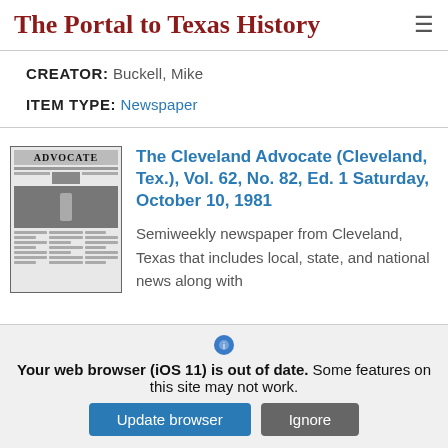The Portal to Texas History
CREATOR: Buckell, Mike
ITEM TYPE: Newspaper
[Figure (photo): Black and white newspaper thumbnail of The Cleveland Advocate front page]
The Cleveland Advocate (Cleveland, Tex.), Vol. 62, No. 82, Ed. 1 Saturday, October 10, 1981
Semiweekly newspaper from Cleveland, Texas that includes local, state, and national news along with
Your web browser (iOS 11) is out of date. Some features on this site may not work.